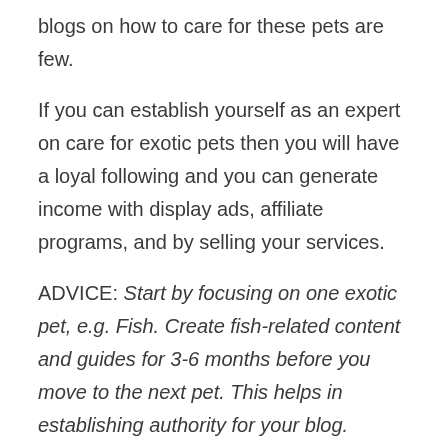blogs on how to care for these pets are few.
If you can establish yourself as an expert on care for exotic pets then you will have a loyal following and you can generate income with display ads, affiliate programs, and by selling your services.
ADVICE: Start by focusing on one exotic pet, e.g. Fish. Create fish-related content and guides for 3-6 months before you move to the next pet. This helps in establishing authority for your blog.
3. Smart homes